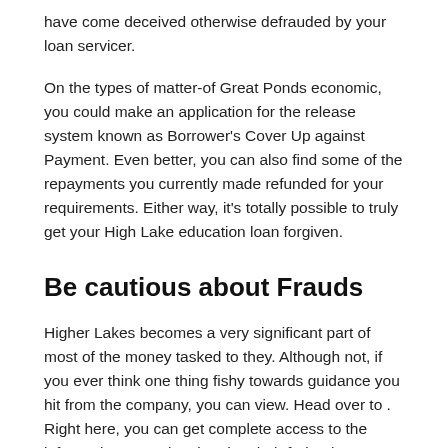have come deceived otherwise defrauded by your loan servicer.
On the types of matter-of Great Ponds economic, you could make an application for the release system known as Borrower’s Cover Up against Payment. Even better, you can also find some of the repayments you currently made refunded for your requirements. Either way, it’s totally possible to truly get your High Lake education loan forgiven.
Be cautious about Frauds
Higher Lakes becomes a very significant part of most of the money tasked to they. Although not, if you ever think one thing fishy towards guidance you hit from the company, you can view. Head over to . Right here, you can get complete access to the information strongly related to their federal education loan like your mortgage servicer. You only have to use your history so you can sign in your Federal College student Assistance account.